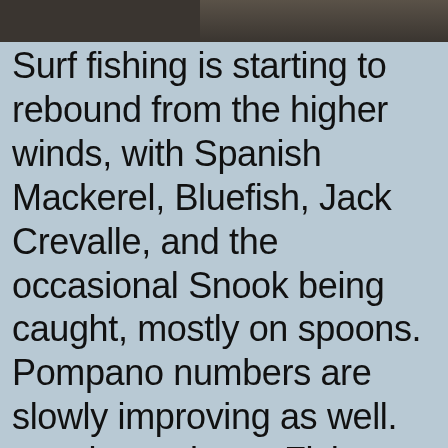[Figure (photo): Partial photo visible at top of page, appears to show a dark outdoor/fishing scene]
Surf fishing is starting to rebound from the higher winds, with Spanish Mackerel, Bluefish, Jack Crevalle, and the occasional Snook being caught, mostly on spoons. Pompano numbers are slowly improving as well. mostly on clams, Fish Gum, and Fish Bites. Snook fishing in the inlets has been